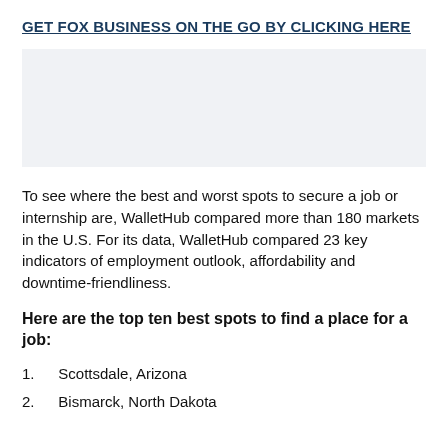GET FOX BUSINESS ON THE GO BY CLICKING HERE
[Figure (other): Advertisement placeholder box with light gray/blue background]
To see where the best and worst spots to secure a job or internship are, WalletHub compared more than 180 markets in the U.S. For its data, WalletHub compared 23 key indicators of employment outlook, affordability and downtime-friendliness.
Here are the top ten best spots to find a place for a job:
1.  Scottsdale, Arizona
2.  Bismarck, North Dakota